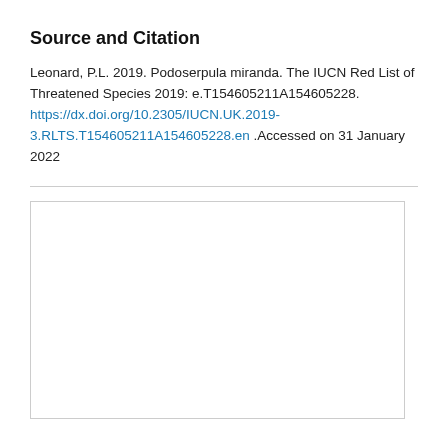Source and Citation
Leonard, P.L. 2019. Podoserpula miranda. The IUCN Red List of Threatened Species 2019: e.T154605211A154605228. https://dx.doi.org/10.2305/IUCN.UK.2019-3.RLTS.T154605211A154605228.en .Accessed on 31 January 2022
[Figure (other): Empty bordered box, likely a placeholder for an image or map.]